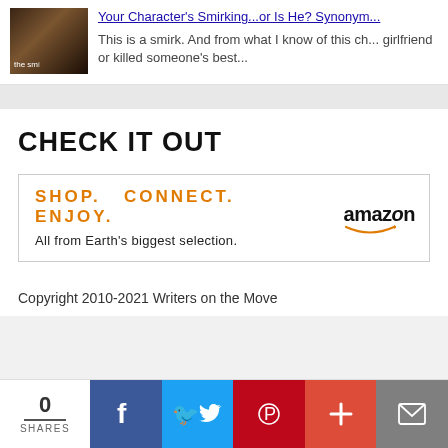[Figure (photo): Dark moody portrait photo of a man with text overlay 'the sm']
Your Character's Smirking...or Is He? Synonym...
This is a smirk. And from what I know of this ch... girlfriend or killed someone's best...
CHECK IT OUT
[Figure (other): Amazon advertisement banner: SHOP. CONNECT. ENJOY. All from Earth's biggest selection. Amazon logo.]
Copyright 2010-2021 Writers on the Move
0 SHARES — share buttons: Facebook, Twitter, Pinterest, Plus, Email